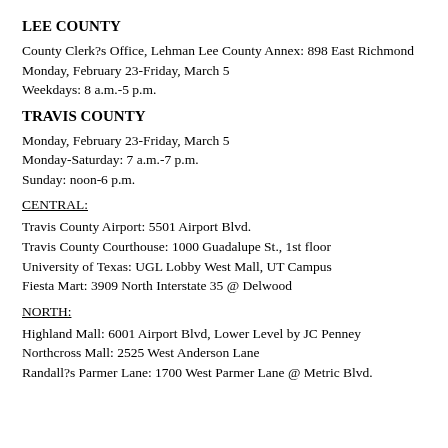LEE COUNTY
County Clerk?s Office, Lehman Lee County Annex: 898 East Richmond
Monday, February 23-Friday, March 5
Weekdays: 8 a.m.-5 p.m.
TRAVIS COUNTY
Monday, February 23-Friday, March 5
Monday-Saturday: 7 a.m.-7 p.m.
Sunday: noon-6 p.m.
CENTRAL:
Travis County Airport: 5501 Airport Blvd.
Travis County Courthouse: 1000 Guadalupe St., 1st floor
University of Texas: UGL Lobby West Mall, UT Campus
Fiesta Mart: 3909 North Interstate 35 @ Delwood
NORTH:
Highland Mall: 6001 Airport Blvd, Lower Level by JC Penney
Northcross Mall: 2525 West Anderson Lane
Randall?s Parmer Lane: 1700 West Parmer Lane @ Metric Blvd.